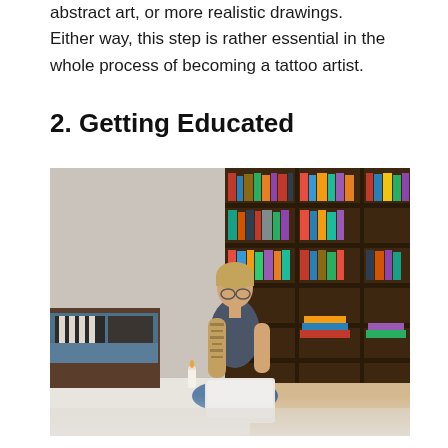abstract art, or more realistic drawings. Either way, this step is rather essential in the whole process of becoming a tattoo artist.
2. Getting Educated
[Figure (photo): A tattooed woman sitting cross-legged on the floor in front of a large wooden bookshelf filled with books, working on a laptop computer. A bed with striped pillows is visible to the left.]